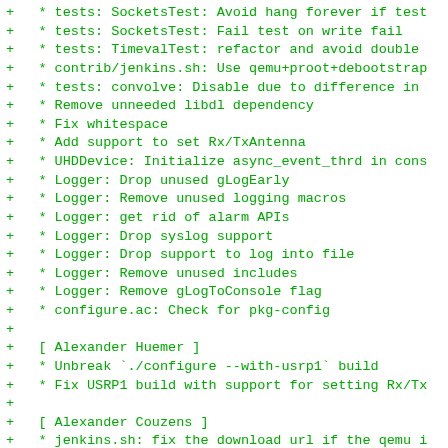+   * tests: SocketsTest: Avoid hang forever if test
+   * tests: SocketsTest: Fail test on write fail
+   * tests: TimevalTest: refactor and avoid double
+   * contrib/jenkins.sh: Use qemu+proot+debootstrap
+   * tests: convolve: Disable due to difference in
+   * Remove unneeded libdl dependency
+   * Fix whitespace
+   * Add support to set Rx/TxAntenna
+   * UHDDevice: Initialize async_event_thrd in cons
+   * Logger: Drop unused gLogEarly
+   * Logger: Remove unused logging macros
+   * Logger: get rid of alarm APIs
+   * Logger: Drop syslog support
+   * Logger: Drop support to log into file
+   * Logger: Remove unused includes
+   * Logger: Remove gLogToConsole flag
+   * configure.ac: Check for pkg-config
+
+   [ Alexander Huemer ]
+   * Unbreak `./configure --with-usrp1` build
+   * Fix USRP1 build with support for setting Rx/Tx
+
+   [ Alexander Couzens ]
+   * jenkins.sh: fix the download url if the qemu i
+
+ -- Pau Espin Pedrol <pespin@sysmocom.de>  Mon, 05
+
 osmo-trx (0.2.0) unstable; urgency=medium

    [ Alexander Chemeris ]